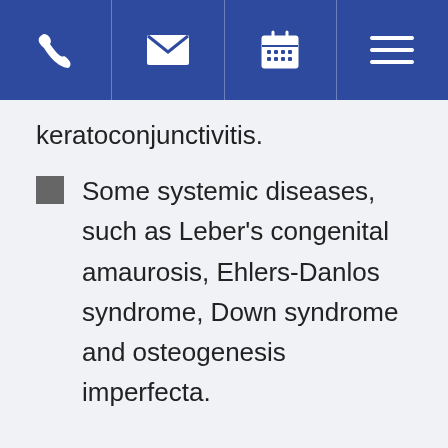[Navigation bar with phone, email, calendar, and menu icons]
keratoconjunctivitis.
Some systemic diseases, such as Leber's congenital amaurosis, Ehlers-Danlos syndrome, Down syndrome and osteogenesis imperfecta.
The doctor will check for corneal disease and trauma by using a special slit lamp instrument as well as advanced diagnostic technology, such as corneal topography. Using corneal topography the doctor can detect corneal